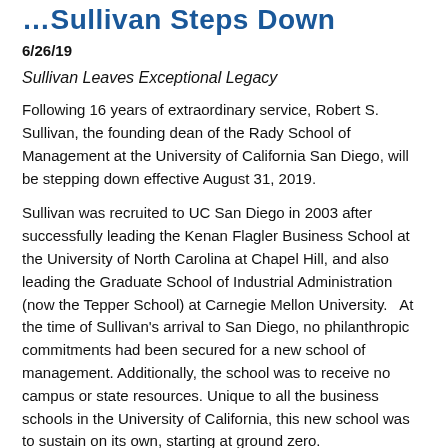…Sullivan Steps Down
6/26/19
Sullivan Leaves Exceptional Legacy
Following 16 years of extraordinary service, Robert S. Sullivan, the founding dean of the Rady School of Management at the University of California San Diego, will be stepping down effective August 31, 2019.
Sullivan was recruited to UC San Diego in 2003 after successfully leading the Kenan Flagler Business School at the University of North Carolina at Chapel Hill, and also leading the Graduate School of Industrial Administration (now the Tepper School) at Carnegie Mellon University.   At the time of Sullivan's arrival to San Diego, no philanthropic commitments had been secured for a new school of management. Additionally, the school was to receive no campus or state resources. Unique to all the business schools in the University of California, this new school was to sustain on its own, starting at ground zero.